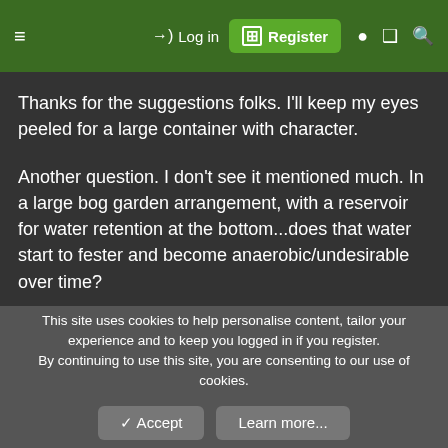≡   →) Log in   ⊞ Register   ● ❑ 🔍
Thanks for the suggestions folks. I'll keep my eyes peeled for a large container with character.
Another question. I don't see it mentioned much. In a large bog garden arrangement, with a reservoir for water retention at the bottom...does that water start to fester and become anaerobic/undesirable over time?
Sent from my iPhone using Tapatalk
This site uses cookies to help personalise content, tailor your experience and to keep you logged in if you register.
By continuing to use this site, you are consenting to our use of cookies.